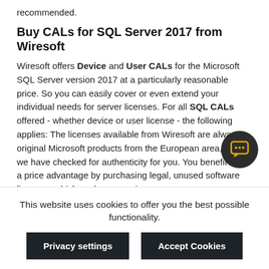recommended.
Buy CALs for SQL Server 2017 from Wiresoft
Wiresoft offers Device and User CALs for the Microsoft SQL Server version 2017 at a particularly reasonable price. So you can easily cover or even extend your individual needs for server licenses. For all SQL CALs offered - whether device or user license - the following applies: The licenses available from Wiresoft are always original Microsoft products from the European area, which we have checked for authenticity for you. You benefit from a price advantage by purchasing legal, unused software licenses, which we have acqui...
This website uses cookies to offer you the best possible functionality.